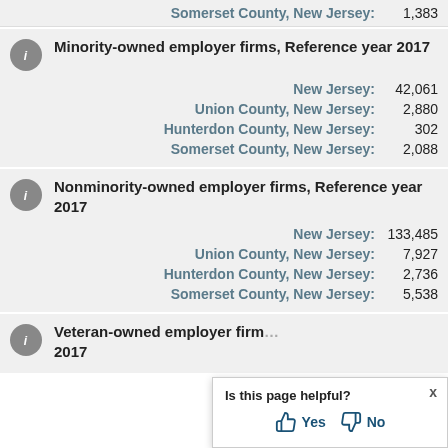Somerset County, New Jersey: 1,383
Minority-owned employer firms, Reference year 2017
New Jersey: 42,061
Union County, New Jersey: 2,880
Hunterdon County, New Jersey: 302
Somerset County, New Jersey: 2,088
Nonminority-owned employer firms, Reference year 2017
New Jersey: 133,485
Union County, New Jersey: 7,927
Hunterdon County, New Jersey: 2,736
Somerset County, New Jersey: 5,538
Veteran-owned employer firms, Reference year 2017
Is this page helpful? Yes No